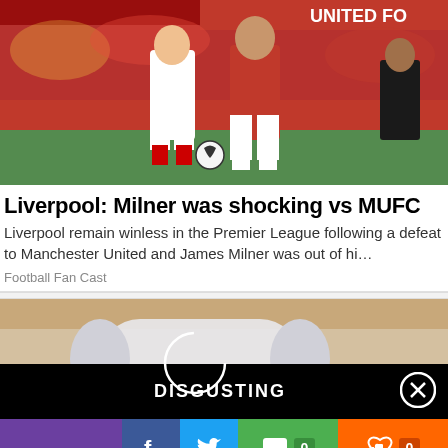[Figure (photo): Soccer players in action — one in white Liverpool kit, one in red Manchester United kit, competing for the ball on a football pitch]
Liverpool: Milner was shocking vs MUFC
Liverpool remain winless in the Premier League following a defeat to Manchester United and James Milner was out of hi…
Football Fan Cast
[Figure (photo): Advertisement image showing a close-up of a cylindrical object on a surface, with a black overlay bar reading DISGUSTING and a close button]
[Figure (infographic): Social sharing bar with purple section, Facebook, Twitter, comment counter showing 0, and like counter showing 0]